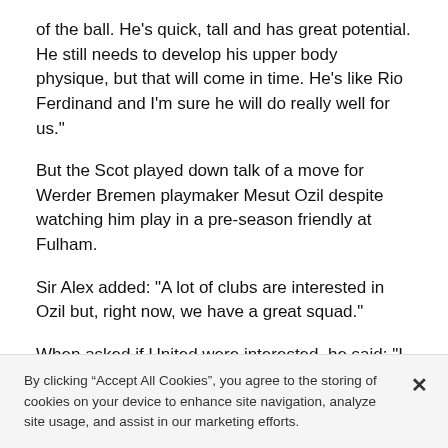of the ball. He's quick, tall and has great potential. He still needs to develop his upper body physique, but that will come in time. He's like Rio Ferdinand and I'm sure he will do really well for us."
But the Scot played down talk of a move for Werder Bremen playmaker Mesut Ozil despite watching him play in a pre-season friendly at Fulham.
Sir Alex added: "A lot of clubs are interested in Ozil but, right now, we have a great squad."
When asked if United were interested, he said: "I didn't say that. I don't know."
Ferguson admitted Ferdinand and Hargreaves are "still
By clicking “Accept All Cookies”, you agree to the storing of cookies on your device to enhance site navigation, analyze site usage, and assist in our marketing efforts.